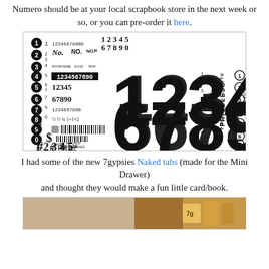Numero should be at your local scrapbook store in the next week or so, or you can pre-order it here.
[Figure (photo): Sheet of number stamps/stickers in various fonts and sizes including barcodes, dollar signs, hash symbols, and the text 'ONE SIZE FITS ALL', 'NO REFUNDS NO EXCHANGES', '95TH PERCENTILE', 'PROJECTED GROWTH', 'PRICELESS', 'SALE PRICE', 'GOING CHEAP', 'ITEM NO.', 'DATE', 'TIME']
I had some of the new 7gypsies Naked tabs (made for the Mini Drawer) and thought they would make a fun little card/book.
[Figure (photo): Partial photo of a crafted mini card/book made with Naked tabs, showing colorful decorated tabs and cards.]